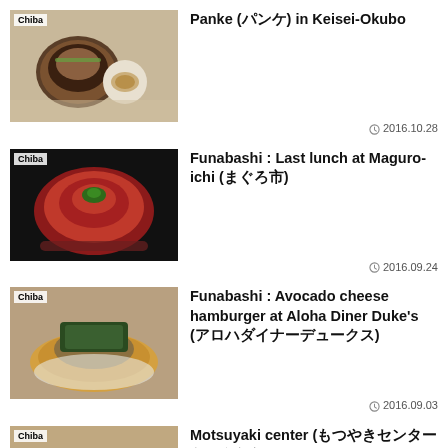[Figure (photo): Bowl of ramen with gyoza on the side, labeled Chiba]
Panke (パンケ) in Keisei-Okubo
2016.10.28
[Figure (photo): Bowl of tuna rice with toppings, labeled Chiba]
Funabashi : Last lunch at Maguro-ichi (まぐろ市)
2016.09.24
[Figure (photo): Avocado cheese hamburger on a plate, labeled Chiba]
Funabashi : Avocado cheese hamburger at Aloha Diner Duke's (アロハダイナーデュークス)
2016.09.03
[Figure (photo): Motsuyaki chicken dish, labeled Chiba]
Motsuyaki center (もつやきセンター もとやわた) in Motoyawata